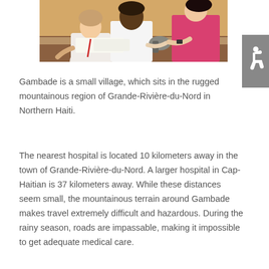[Figure (photo): Photo of medical workers at a table, one person in a white shirt and another in a pink top using a blood pressure cuff or similar medical device on a patient]
Gambade is a small village, which sits in the rugged mountainous region of Grande-Rivière-du-Nord in Northern Haiti.
The nearest hospital is located 10 kilometers away in the town of Grande-Rivière-du-Nord. A larger hospital in Cap-Haitian is 37 kilometers away. While these distances seem small, the mountainous terrain around Gambade makes travel extremely difficult and hazardous. During the rainy season, roads are impassable, making it impossible to get adequate medical care.